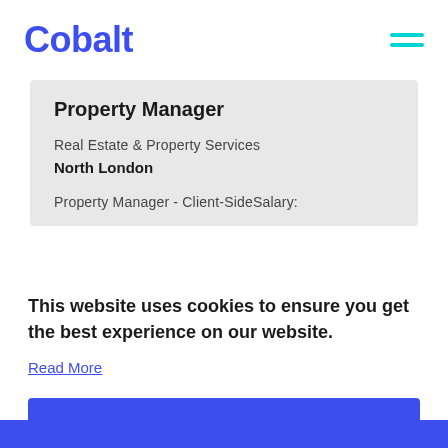Cobalt
Property Manager
Real Estate & Property Services
North London
Property Manager - Client-SideSalary:
This website uses cookies to ensure you get the best experience on our website.
Read More
Accept Cookies